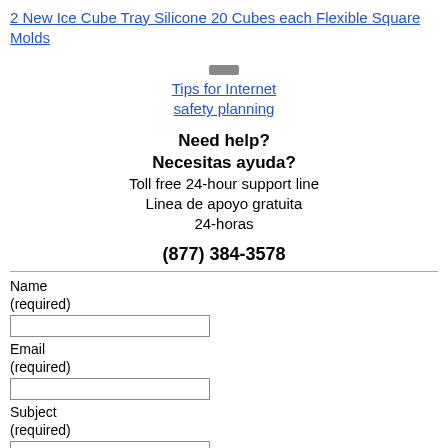2 New Ice Cube Tray Silicone 20 Cubes each Flexible Square Molds
[Figure (other): Small rectangular icon/button above the Tips for Internet safety planning link]
Tips for Internet safety planning
Need help?
Necesitas ayuda?
Toll free 24-hour support line
Linea de apoyo gratuita
24-horas
(877) 384-3578
Name (required)
Email (required)
Subject (required)